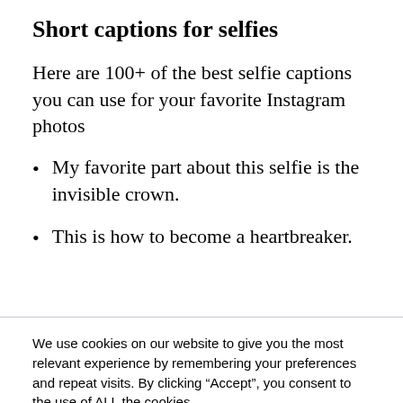Short captions for selfies
Here are 100+ of the best selfie captions you can use for your favorite Instagram photos
My favorite part about this selfie is the invisible crown.
This is how to become a heartbreaker.
We use cookies on our website to give you the most relevant experience by remembering your preferences and repeat visits. By clicking “Accept”, you consent to the use of ALL the cookies.
Do not sell my personal information.
Cookie settings  ACCEPT